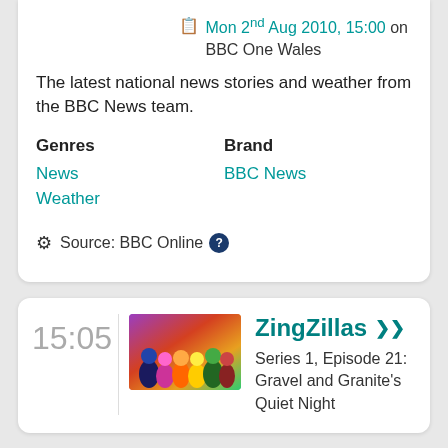Mon 2nd Aug 2010, 15:00 on BBC One Wales
The latest national news stories and weather from the BBC News team.
Genres
Brand
News
Weather
BBC News
Source: BBC Online
15:05
[Figure (photo): Colorful animated characters from ZingZillas TV show against purple background]
ZingZillas
Series 1, Episode 21: Gravel and Granite's Quiet Night